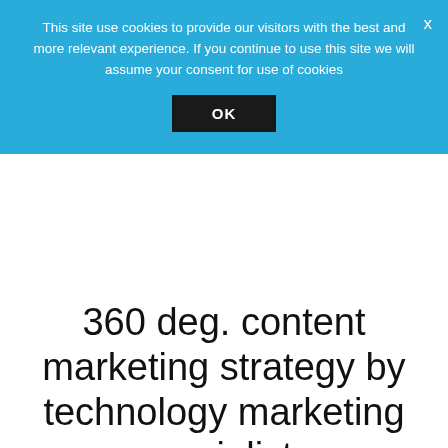This site use cookies to provide our visitors with the best and more relevant experience. If you continue to use this site we will assume your consent for use of cookies
OK
360 deg. content marketing strategy by technology marketing specialists
How can we help?